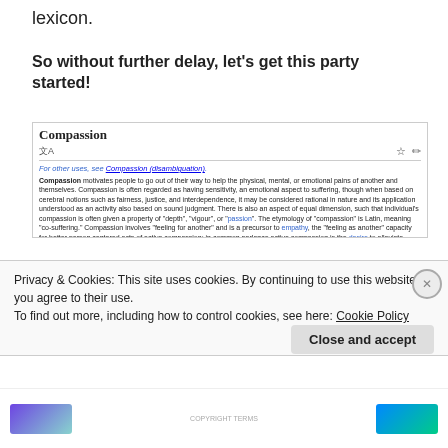lexicon.
So without further delay, let’s get this party started!
[Figure (screenshot): Wikipedia article screenshot for 'Compassion' showing article title, language icon, star and edit icons, disambiguation link, and three paragraphs of body text about the definition and etymology of compassion.]
Privacy & Cookies: This site uses cookies. By continuing to use this website, you agree to their use.
To find out more, including how to control cookies, see here: Cookie Policy
Close and accept